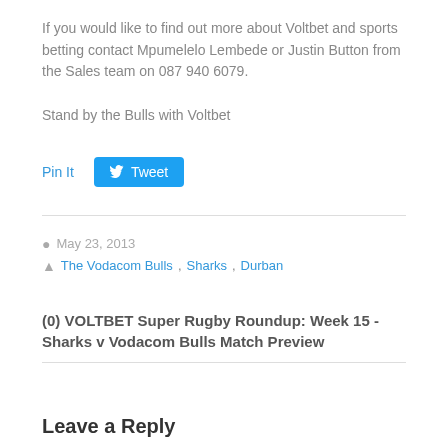If you would like to find out more about Voltbet and sports betting contact Mpumelelo Lembede or Justin Button from the Sales team on 087 940 6079.
Stand by the Bulls with Voltbet
[Figure (other): Social sharing buttons: 'Pin It' link and a blue Twitter 'Tweet' button]
May 23, 2013
The Vodacom Bulls, Sharks, Durban
(0) VOLTBET Super Rugby Roundup: Week 15 - Sharks v Vodacom Bulls Match Preview
Leave a Reply